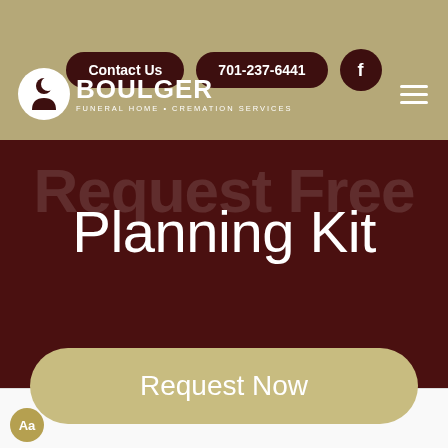Contact Us | 701-237-6441 | Facebook
[Figure (logo): Boulger Funeral Home & Cremation Services logo with circular icon on tan/khaki background]
Request Free Planning Kit
[Figure (other): Request Now button on dark maroon background]
Aa